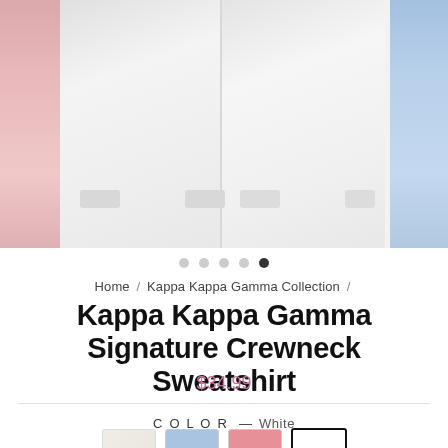[Figure (photo): Product carousel showing Kappa Kappa Gamma Signature Crewneck Sweatshirt in multiple colors: pink (left edge), white (center-left), white (center-right), and light blue (right edge). Five pagination dots below, fifth dot active/dark.]
Home / Kappa Kappa Gamma Collection /
Kappa Kappa Gamma Signature Crewneck Sweatshirt
$34.99
COLOR — White
[Figure (other): Four color swatch boxes: cream/natural, light blue, pink, and white (selected, with black border)]